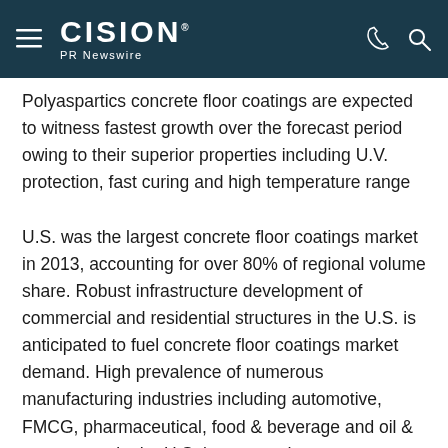CISION PR Newswire
Polyaspartics concrete floor coatings are expected to witness fastest growth over the forecast period owing to their superior properties including U.V. protection, fast curing and high temperature range
U.S. was the largest concrete floor coatings market in 2013, accounting for over 80% of regional volume share. Robust infrastructure development of commercial and residential structures in the U.S. is anticipated to fuel concrete floor coatings market demand. High prevalence of numerous manufacturing industries including automotive, FMCG, pharmaceutical, food & beverage and oil & gas sectors in the U.S. is expected to promote demand concrete floor coatings over the forecast period.